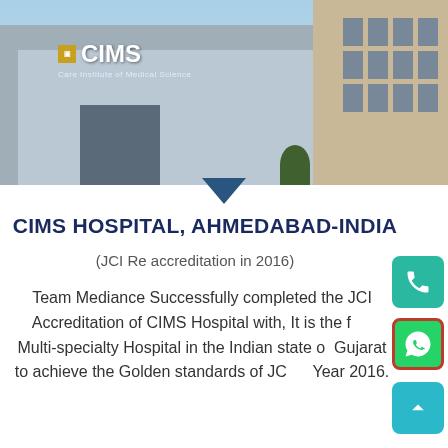[Figure (photo): Exterior photo of CIMS Hospital building with 'CIMS Care Institute of Medical Science' signage on the left building and a multi-story beige building on the right. Blue sky background.]
CIMS HOSPITAL, AHMEDABAD-INDIA
(JCI Re accreditation in 2016)
Team Mediance Successfully completed the JCI Accreditation of CIMS Hospital with, It is the first Multi-specialty Hospital in the Indian state of Gujarat to achieve the Golden standards of JCI in Year 2016.